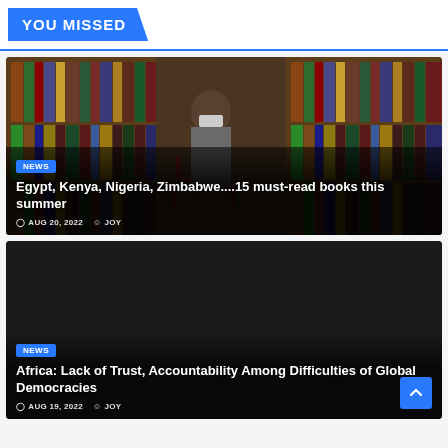YOU MISSED
[Figure (photo): Man wearing face mask sitting among bookshelves filled with books]
NEWS
Egypt, Kenya, Nigeria, Zimbabwe....15 must-read books this summer
AUG 20, 2022   JOY
[Figure (photo): Dark background image for second news article]
NEWS
Africa: Lack of Trust, Accountability Among Difficulties of Global Democracies
AUG 19, 2022   JOY